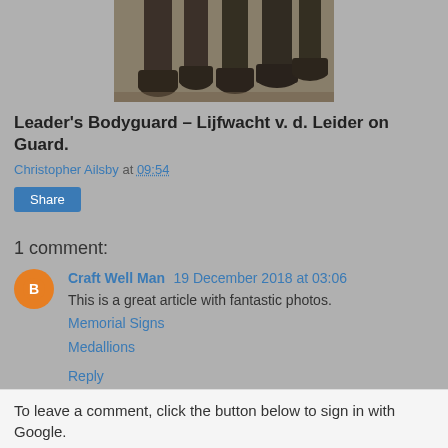[Figure (photo): Black and white photo showing the lower legs and boots of several people standing, cropped at the waist]
Leader's Bodyguard – Lijfwacht v. d. Leider on Guard.
Christopher Ailsby at 09:54
Share
1 comment:
Craft Well Man 19 December 2018 at 03:06
This is a great article with fantastic photos.
Memorial Signs
Medallions
Reply
To leave a comment, click the button below to sign in with Google.